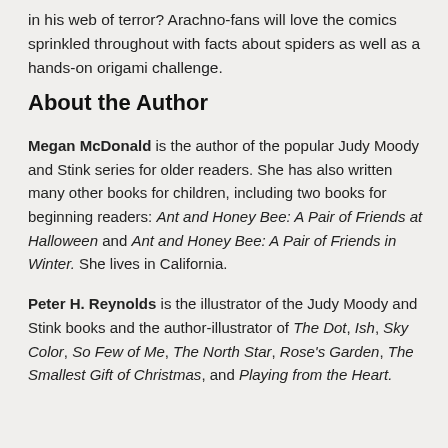in his web of terror? Arachno-fans will love the comics sprinkled throughout with facts about spiders as well as a hands-on origami challenge.
About the Author
Megan McDonald is the author of the popular Judy Moody and Stink series for older readers. She has also written many other books for children, including two books for beginning readers: Ant and Honey Bee: A Pair of Friends at Halloween and Ant and Honey Bee: A Pair of Friends in Winter. She lives in California.
Peter H. Reynolds is the illustrator of the Judy Moody and Stink books and the author-illustrator of The Dot, Ish, Sky Color, So Few of Me, The North Star, Rose's Garden, The Smallest Gift of Christmas, and Playing from the Heart.